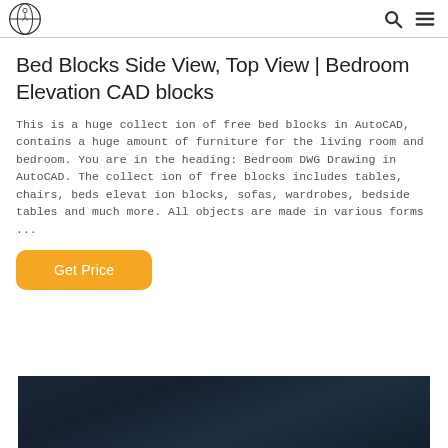[Logo icon] [Search icon] [Menu icon]
Bed Blocks Side View, Top View | Bedroom Elevation CAD blocks
This is a huge collection of free bed blocks in AutoCAD, contains a huge amount of furniture for the living room and bedroom. You are in the heading: Bedroom DWG Drawing in AutoCAD. The collection of free blocks includes tables, chairs, beds elevation blocks, sofas, wardrobes, bedside tables and much more. All objects are made in various forms ...
Get Price
[Figure (photo): Dark blue background image, partially visible at the bottom of the page, appears to be a dark-toned CAD or architectural rendering.]